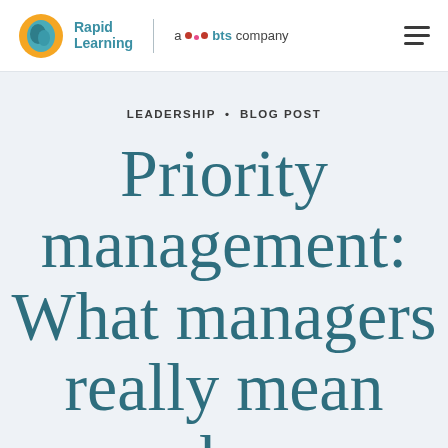Rapid Learning | a bts company
LEADERSHIP • BLOG POST
Priority management: What managers really mean when they talk about